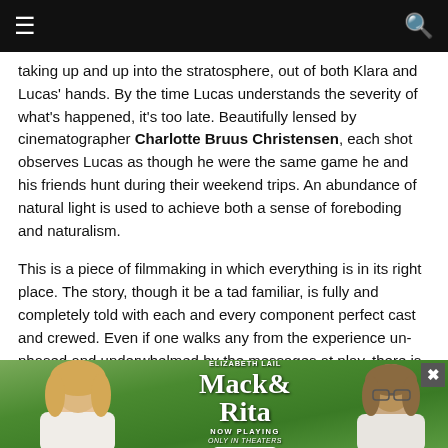≡  🔍
taking up and up into the stratosphere, out of both Klara and Lucas' hands. By the time Lucas understands the severity of what's happened, it's too late. Beautifully lensed by cinematographer Charlotte Bruus Christensen, each shot observes Lucas as though he were the same game he and his friends hunt during their weekend trips. An abundance of natural light is used to achieve both a sense of foreboding and naturalism.
This is a piece of filmmaking in which everything is in its right place. The story, though it be a tad familiar, is fully and completely told with each and every component perfect cast and crewed. Even if one walks any from the experience un-phased and underwhelmed by the messages at play, there is no denying the technical skill on display from Vinterberg and his team. Mikkelsen hasn't been this good in a long while, and those supporting him are, at the very least, his match. Larsen's turn as Lucas' once-friend now enemy is devastating to watch and enviable in its full ness of character. These are the parts act… matic muscles … the top.
[Figure (advertisement): Mack & Rita movie advertisement featuring Diane Keaton, Taylour Paige, and Elizabeth Lail with a green outdoor background. NOW PLAYING with BUY TICKETS button. Close button (X) in top right.]